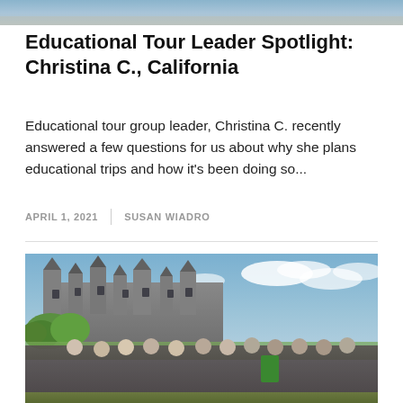[Figure (photo): Top cropped image strip showing outdoor scene, partially visible at top of page]
Educational Tour Leader Spotlight: Christina C., California
Educational tour group leader, Christina C. recently answered a few questions for us about why she plans educational trips and how it's been doing so...
APRIL 1, 2021  |  SUSAN WIADRO
[Figure (photo): Group photo of students and adults standing in front of a large French chateau (Château de Chambord style) with a green landscape and cloudy sky in the background]